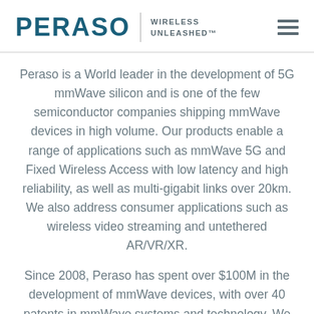PERASO | WIRELESS UNLEASHED™
Peraso is a World leader in the development of 5G mmWave silicon and is one of the few semiconductor companies shipping mmWave devices in high volume. Our products enable a range of applications such as mmWave 5G and Fixed Wireless Access with low latency and high reliability, as well as multi-gigabit links over 20km. We also address consumer applications such as wireless video streaming and untethered AR/VR/XR.
Since 2008, Peraso has spent over $100M in the development of mmWave devices, with over 40 patents in mmWave systems and technology. We are now the driving force in 5G.